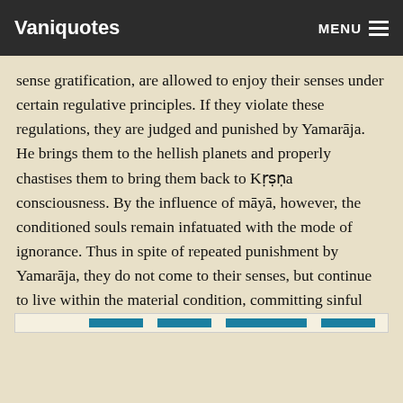Vaniquotes | MENU
sense gratification, are allowed to enjoy their senses under certain regulative principles. If they violate these regulations, they are judged and punished by Yamarāja. He brings them to the hellish planets and properly chastises them to bring them back to Kṛṣṇa consciousness. By the influence of māyā, however, the conditioned souls remain infatuated with the mode of ignorance. Thus in spite of repeated punishment by Yamarāja, they do not come to their senses, but continue to live within the material condition, committing sinful activities again and again.